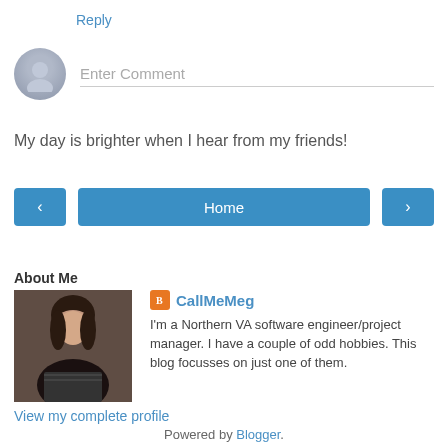Reply
[Figure (other): Comment input box with generic avatar icon and 'Enter Comment' placeholder text]
My day is brighter when I hear from my friends!
[Figure (other): Navigation buttons: left arrow, Home, right arrow]
View web version
About Me
[Figure (photo): Profile photo of CallMeMeg — a woman with dark hair]
CallMeMeg
I'm a Northern VA software engineer/project manager. I have a couple of odd hobbies. This blog focusses on just one of them.
View my complete profile
Powered by Blogger.